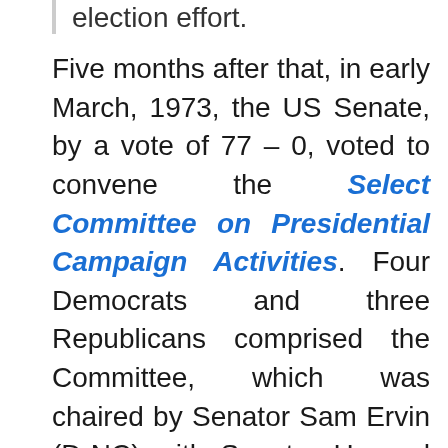election effort.
Five months after that, in early March, 1973, the US Senate, by a vote of 77 – 0, voted to convene the Select Committee on Presidential Campaign Activities. Four Democrats and three Republicans comprised the Committee, which was chaired by Senator Sam Ervin (D-NC) with Senator Howard Baker (R-TN) as his Vice Chair. The Committee began its public hearings on 17 May, 13 months after the break-in. They would go on every day for two weeks, and